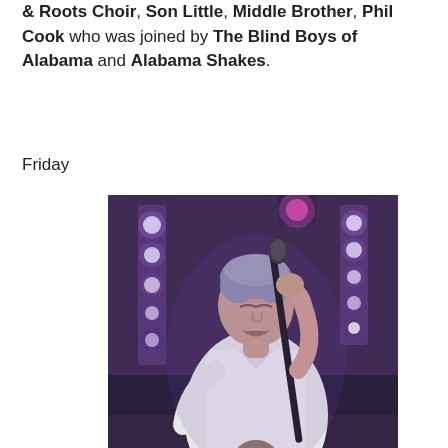& Roots Choir, Son Little, Middle Brother, Phil Cook who was joined by The Blind Boys of Alabama and Alabama Shakes.
Friday
[Figure (photo): A performer in a white shirt singing into a microphone on stage, with purple stage lights in the background.]